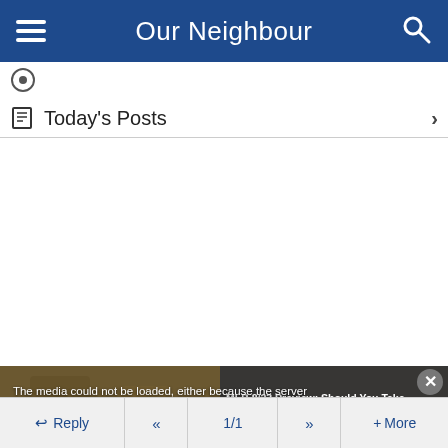Our Neighbour
Today's Posts
The media could not be loaded, either because the server or network failed or because the format is not supported.
MLB 8/23 Preview: Should You Take The Padres (-1.5) Vs. Guardians?
Reply  <<  1/1  >>  + More